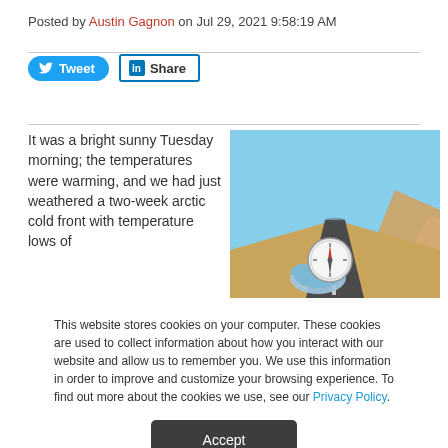Posted by Austin Gagnon on Jul 29, 2021 9:58:19 AM
[Figure (photo): A hand holding a compass over a long straight desert road stretching toward the horizon]
It was a bright sunny Tuesday morning; the temperatures were warming, and we had just weathered a two-week arctic cold front with temperature lows of
This website stores cookies on your computer. These cookies are used to collect information about how you interact with our website and allow us to remember you. We use this information in order to improve and customize your browsing experience. To find out more about the cookies we use, see our Privacy Policy.
Accept